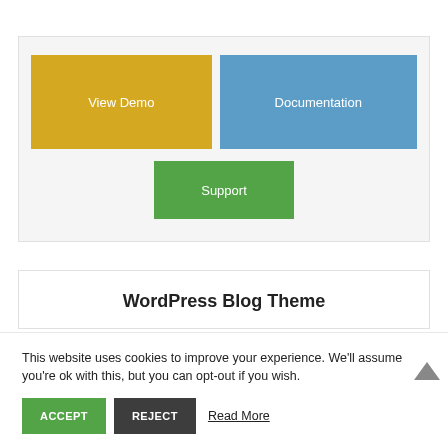[Figure (screenshot): Three buttons: 'View Demo' (yellow/gold), 'Documentation' (blue), and 'Support' (green), arranged in a light gray card]
WordPress Blog Theme
This website uses cookies to improve your experience. We'll assume you're ok with this, but you can opt-out if you wish.
ACCEPT  REJECT  Read More